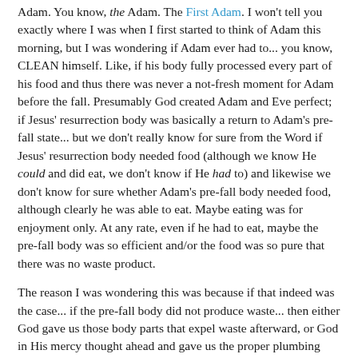Adam. You know, the Adam. The First Adam. I won't tell you exactly where I was when I first started to think of Adam this morning, but I was wondering if Adam ever had to... you know, CLEAN himself. Like, if his body fully processed every part of his food and thus there was never a not-fresh moment for Adam before the fall. Presumably God created Adam and Eve perfect; if Jesus' resurrection body was basically a return to Adam's pre-fall state... but we don't really know for sure from the Word if Jesus' resurrection body needed food (although we know He could and did eat, we don't know if He had to) and likewise we don't know for sure whether Adam's pre-fall body needed food, although clearly he was able to eat. Maybe eating was for enjoyment only. At any rate, even if he had to eat, maybe the pre-fall body was so efficient and/or the food was so pure that there was no waste product.
The reason I was wondering this was because if that indeed was the case... if the pre-fall body did not produce waste... then either God gave us those body parts that expel waste afterward, or God in His mercy thought ahead and gave us the proper plumbing before we need it. Wouldn't that be just